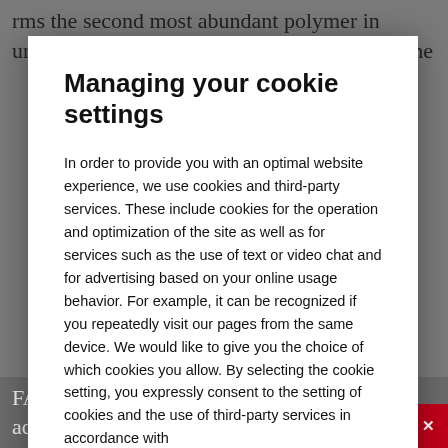rms the second most abundant polymer in ure after cellulose. Lignin is a by-product of the
Managing your cookie settings
In order to provide you with an optimal website experience, we use cookies and third-party services. These include cookies for the operation and optimization of the site as well as for services such as the use of text or video chat and for advertising based on your online usage behavior. For example, it can be recognized if you repeatedly visit our pages from the same device. We would like to give you the choice of which cookies you allow. By selecting the cookie setting, you expressly consent to the setting of cookies and the use of third-party services in accordance with
SAVE SETTINGS
ACCEPT ALL COOKIES
FAj, lignin, natural resins, waxes, acids, cellulose, biological additive
CONTACT